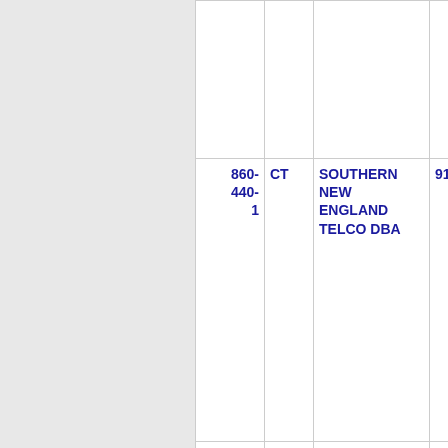| NPA | ST | Company Name | Num |
| --- | --- | --- | --- |
| 860-440-1 | CT | SOUTHERN NEW ENGLAND TELCO DBA | 9147 |
| 860-440-2 | CT | SOUTHERN NEW ENGLAND TELCO DBA | 9147 |